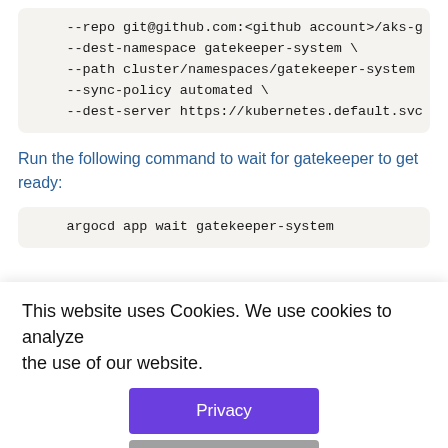[Figure (screenshot): Code block showing command-line arguments: --repo git@github.com:<github account>/aks-g, --dest-namespace gatekeeper-system \, --path cluster/namespaces/gatekeeper-system, --sync-policy automated \, --dest-server https://kubernetes.default.svc]
Run the following command to wait for gatekeeper to get ready:
[Figure (screenshot): Code block showing: argocd app wait gatekeeper-system]
This website uses Cookies. We use cookies to analyze the use of our website.